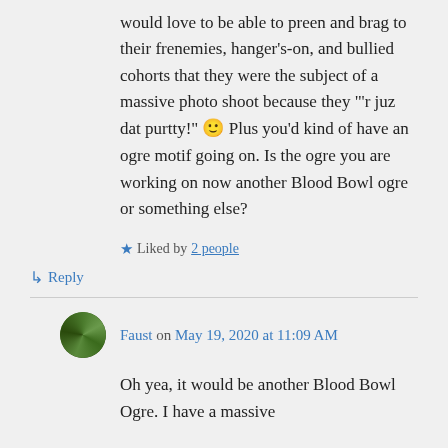would love to be able to preen and brag to their frenemies, hanger's-on, and bullied cohorts that they were the subject of a massive photo shoot because they "'r juz dat purtty!" 🙂 Plus you'd kind of have an ogre motif going on. Is the ogre you are working on now another Blood Bowl ogre or something else?
★ Liked by 2 people
↳ Reply
Faust on May 19, 2020 at 11:09 AM
Oh yea, it would be another Blood Bowl Ogre. I have a massive